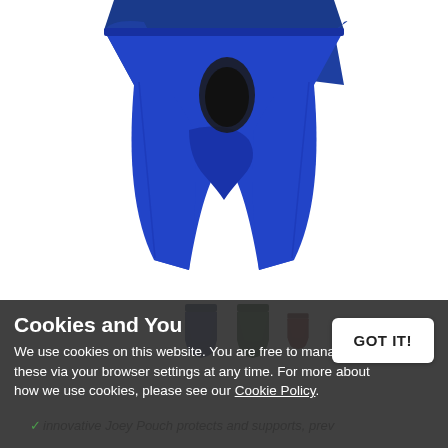[Figure (photo): Blue men's underwear boxer briefs with black pouch panel, shown from the front on a white background]
[Figure (photo): Small thumbnail images of the underwear in navy blue, dark green, and dark red/maroon colors]
Cookies and You
We use cookies on this website. You are free to manage these via your browser settings at any time. For more about how we use cookies, please see our Cookie Policy.
GOT IT!
innovative Joey Pouch protects and supports, prev